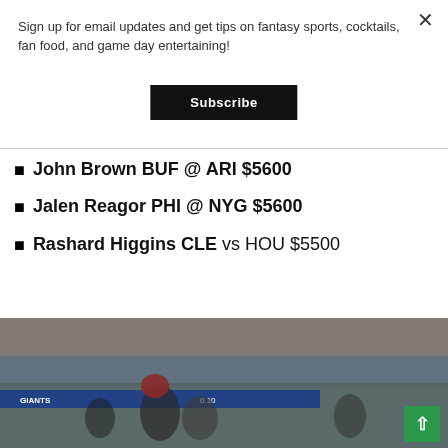Sign up for email updates and get tips on fantasy sports, cocktails, fan food, and game day entertaining!
Subscribe
John Brown BUF @ ARI $5600
Jalen Reagor PHI @ NYG $5600
Rashard Higgins CLE vs HOU $5500
[Figure (photo): Football game photo showing players and coaches on the field with a stadium crowd in the background. A scoreboard is visible.]